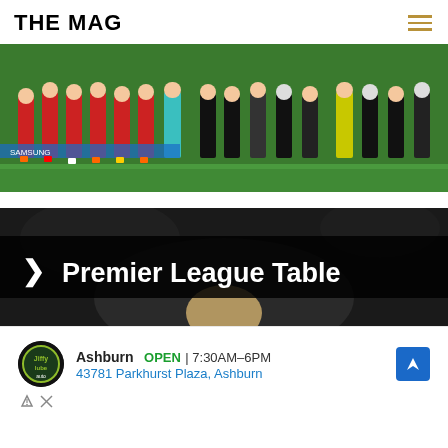THE MAG
[Figure (photo): Football players lined up on a pitch in red and black/white kits, goalkeeper in teal, before a match]
[Figure (other): Premier League Table banner with blurred background image of a player, dark overlay bar with chevron and text]
Ashburn OPEN | 7:30AM–6PM
43781 Parkhurst Plaza, Ashburn